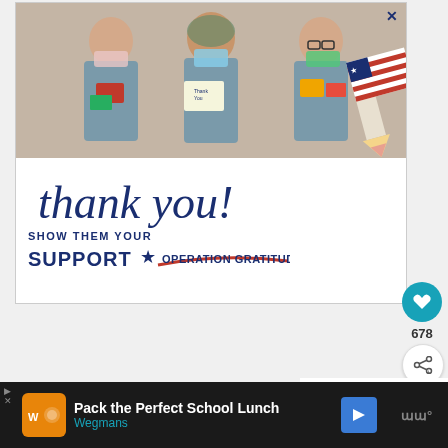[Figure (photo): Advertisement banner: Three healthcare workers in scrubs and masks holding thank you cards. Text reads 'thank you! SHOW THEM YOUR SUPPORT OPERATION GRATITUDE']
678
[Figure (infographic): What's Next panel showing thumbnail image of Alcohol Vodka Filled Gumm... with source logo]
WHAT'S NEXT → Alcohol Vodka Filled Gumm...
[Figure (infographic): Bottom advertisement bar: Wegmans ad - Pack the Perfect School Lunch]
Pack the Perfect School Lunch
Wegmans